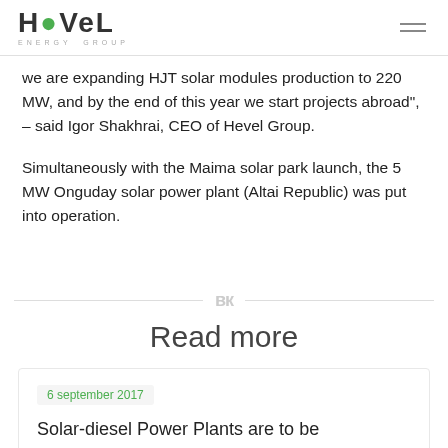HEVEL ENERGY GROUP
we are expanding HJT solar modules production to 220 MW, and by the end of this year we start projects abroad", – said Igor Shakhrai, CEO of Hevel Group.
Simultaneously with the Maima solar park launch, the 5 MW Onguday solar power plant (Altai Republic) was put into operation.
Read more
6 september 2017
Solar-diesel Power Plants are to be